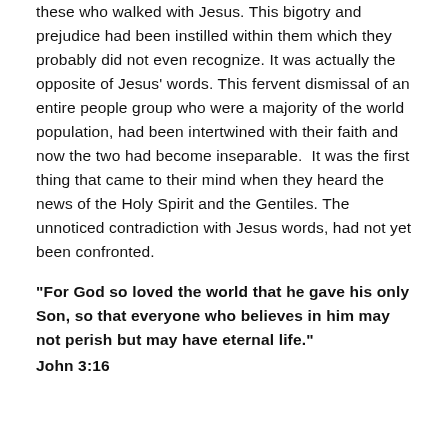these who walked with Jesus. This bigotry and prejudice had been instilled within them which they probably did not even recognize. It was actually the opposite of Jesus' words. This fervent dismissal of an entire people group who were a majority of the world population, had been intertwined with their faith and now the two had become inseparable. It was the first thing that came to their mind when they heard the news of the Holy Spirit and the Gentiles. The unnoticed contradiction with Jesus words, had not yet been confronted.
“For God so loved the world that he gave his only Son, so that everyone who believes in him may not perish but may have eternal life.” John 3:16